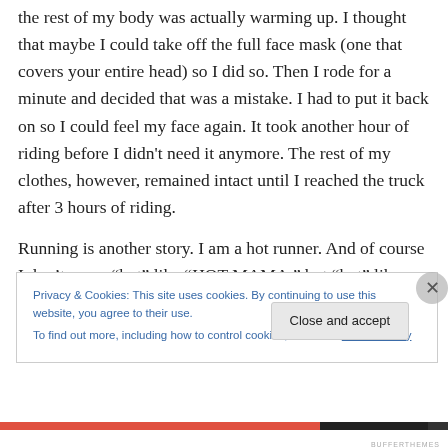the rest of my body was actually warming up.  I thought that maybe I could take off the full face mask (one that covers your entire head) so I did so.  Then I rode for a minute and decided that was a mistake.  I had to put it back on so I could feel my face again.  It took another hour of riding before I didn't need it anymore.  The rest of my clothes, however, remained intact until I reached the truck after 3 hours of riding.
Running is another story.  I am a hot runner.  And of course I don't mean “hot” like “HOT MAMA,” but “hot” like
Privacy & Cookies: This site uses cookies. By continuing to use this website, you agree to their use.
To find out more, including how to control cookies, see here: Cookie Policy